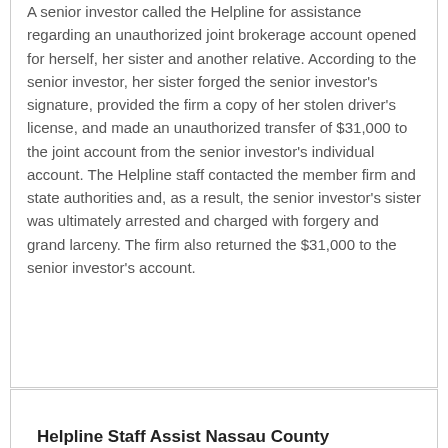A senior investor called the Helpline for assistance regarding an unauthorized joint brokerage account opened for herself, her sister and another relative. According to the senior investor, her sister forged the senior investor's signature, provided the firm a copy of her stolen driver's license, and made an unauthorized transfer of $31,000 to the joint account from the senior investor's individual account. The Helpline staff contacted the member firm and state authorities and, as a result, the senior investor's sister was ultimately arrested and charged with forgery and grand larceny. The firm also returned the $31,000 to the senior investor's account.
Helpline Staff Assist Nassau County